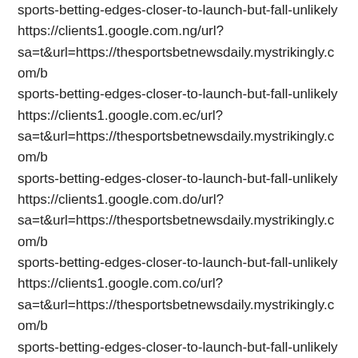sports-betting-edges-closer-to-launch-but-fall-unlikely https://clients1.google.com.ng/url?sa=t&url=https://thesportsbetnewsdaily.mystrikingly.com/b sports-betting-edges-closer-to-launch-but-fall-unlikely https://clients1.google.com.ec/url?sa=t&url=https://thesportsbetnewsdaily.mystrikingly.com/b sports-betting-edges-closer-to-launch-but-fall-unlikely https://clients1.google.com.do/url?sa=t&url=https://thesportsbetnewsdaily.mystrikingly.com/b sports-betting-edges-closer-to-launch-but-fall-unlikely https://clients1.google.com.co/url?sa=t&url=https://thesportsbetnewsdaily.mystrikingly.com/b sports-betting-edges-closer-to-launch-but-fall-unlikely https://clients1.google.com.co/url?q=https://thesportsbetnewsdaily.mystrikingly.com/blog/mar sports-betting-edges-closer-to-launch-but-fall-unlikely